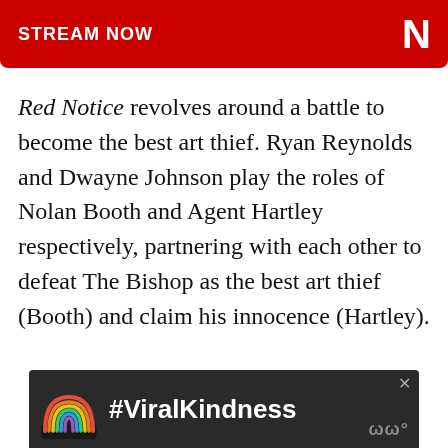[Figure (logo): Netflix 'STREAM NOW' red banner with white bold text and Netflix N logo on the right]
Red Notice revolves around a battle to become the best art thief. Ryan Reynolds and Dwayne Johnson play the roles of Nolan Booth and Agent Hartley respectively, partnering with each other to defeat The Bishop as the best art thief (Booth) and claim his innocence (Hartley).
[Figure (infographic): #ViralKindness advertisement banner with rainbow illustration on dark background]